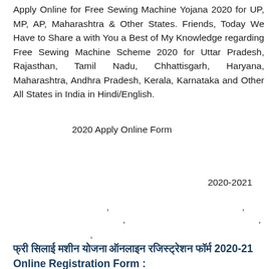Apply Online for Free Sewing Machine Yojana 2020 for UP, MP, AP, Maharashtra & Other States. Friends, Today We Have to Share a with You a Best of My Knowledge regarding Free Sewing Machine Scheme 2020 for Uttar Pradesh, Rajasthan, Tamil Nadu, Chhattisgarh, Haryana, Maharashtra, Andhra Pradesh, Kerala, Karnataka and Other All States in India in Hindi/English.
2020 Apply Online Form
2020-2021
Hindi text lines with commas
फ्री सिलाई मशीन योजना ऑनलाइन रजिस्ट्रेशन फॉर्म 2020-21 Online Registration Form :